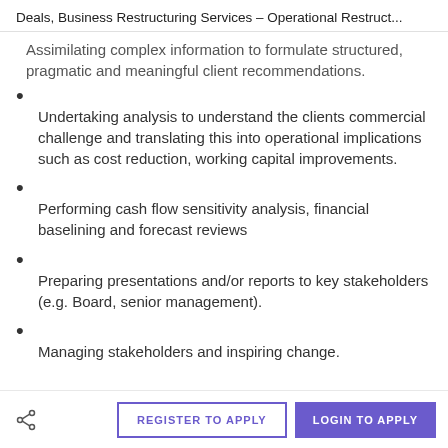Deals, Business Restructuring Services – Operational Restruct...
Assimilating complex information to formulate structured, pragmatic and meaningful client recommendations.
Undertaking analysis to understand the clients commercial challenge and translating this into operational implications such as cost reduction, working capital improvements.
Performing cash flow sensitivity analysis, financial baselining and forecast reviews
Preparing presentations and/or reports to key stakeholders (e.g. Board, senior management).
Managing stakeholders and inspiring change.